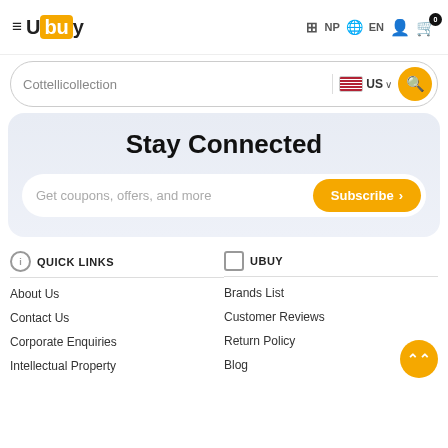[Figure (logo): Ubuy logo with hamburger menu icon]
NP  EN
[Figure (screenshot): Search bar with Cottellicollection text, US flag, and search button]
Stay Connected
Get coupons, offers, and more
Subscribe >
QUICK LINKS
UBUY
About Us
Brands List
Contact Us
Customer Reviews
Corporate Enquiries
Return Policy
Intellectual Property
Blog